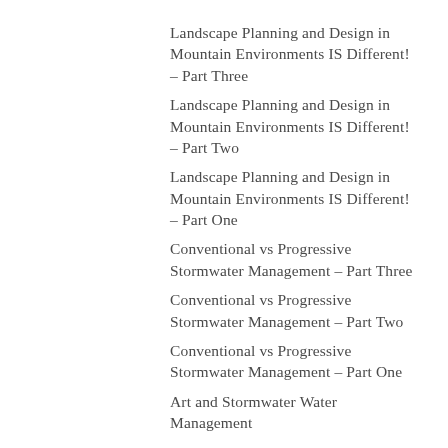Landscape Planning and Design in Mountain Environments IS Different! – Part Three
Landscape Planning and Design in Mountain Environments IS Different! – Part Two
Landscape Planning and Design in Mountain Environments IS Different! – Part One
Conventional vs Progressive Stormwater Management – Part Three
Conventional vs Progressive Stormwater Management – Part Two
Conventional vs Progressive Stormwater Management – Part One
Art and Stormwater Water Management